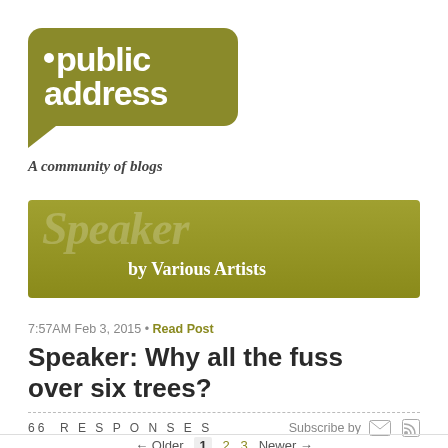[Figure (logo): Public Address logo — olive/khaki speech bubble with 'public address' text in white, tagline 'A community of blogs' below]
[Figure (illustration): Speaker blog banner — olive/khaki rectangle with large italic 'Speaker' text and 'by Various Artists' subtitle]
7:57AM Feb 3, 2015 • Read Post
Speaker: Why all the fuss over six trees?
66 RESPONSES   Subscribe by [mail icon] [rss icon]
← Older  1  2  3  Newer →